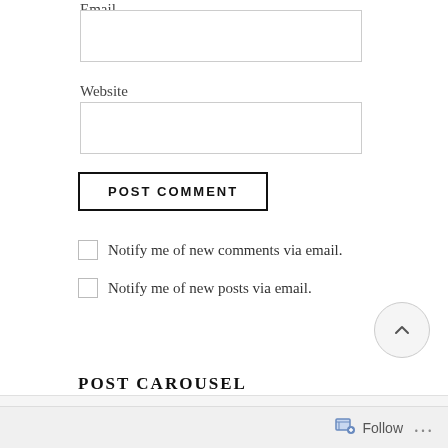Email
[Figure (other): Email input text field (empty)]
Website
[Figure (other): Website input text field (empty)]
POST COMMENT
Notify me of new comments via email.
Notify me of new posts via email.
POST CAROUSEL
Follow ...